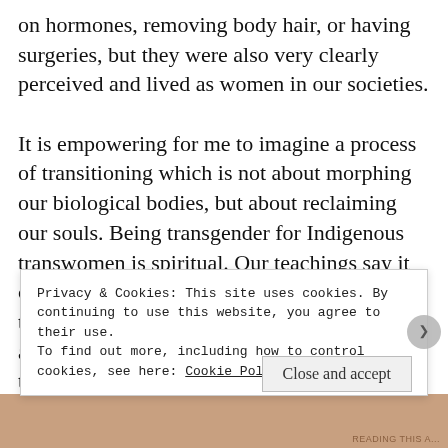on hormones, removing body hair, or having surgeries, but they were also very clearly perceived and lived as women in our societies.

It is empowering for me to imagine a process of transitioning which is not about morphing our biological bodies, but about reclaiming our souls. Being transgender for Indigenous transwomen is spiritual. Our teachings say it comes from our relationship to the earth and the world around us. It’s intrinsically who we are and we demonstrate our femininity through our actions and responsibilities, not our appearance. In the context of this story, I wanted to place ceremony and Western science side b[y...]
Privacy & Cookies: This site uses cookies. By continuing to use this website, you agree to their use.
To find out more, including how to control cookies, see here: Cookie Policy
Close and accept